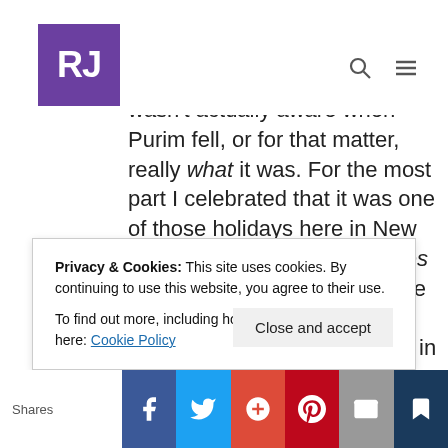RJ (logo)
the soundtrack of my mind. Purim. Sure, I knew the story of Esther, but I have to confess I wasn't actually aware when Purim fell, or for that matter, really what it was. For the most part I celebrated that it was one of those holidays here in New York City where opposite sides was not in effect, meaning one didn't have to worry about moving their vehicle if parked in a locations where street sweeping was scheduled. However, crossing paths in
Privacy & Cookies: This site uses cookies. By continuing to use this website, you agree to their use.
To find out more, including how to control cookies, see here: Cookie Policy
Shares | Facebook | Twitter | Google+ | Pinterest | Email | Bookmark